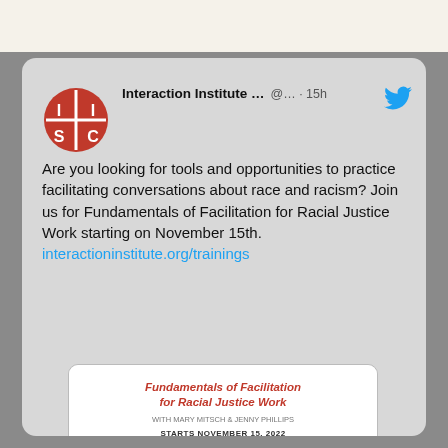[Figure (screenshot): Screenshot of a Twitter/X post from Interaction Institute showing a tweet about Fundamentals of Facilitation for Racial Justice Work training starting November 15th, with an embedded promotional image.]